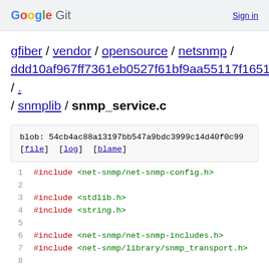Google Git  Sign in
gfiber / vendor / opensource / netsnmp / ddd10af967ff7361eb0527f61bf9aa55117f1651 / . / snmplib / snmp_service.c
blob: 54cb4ac88a13197bb547a9bdc3999c14d40f0c99
[file] [log] [blame]
1  #include <net-snmp/net-snmp-config.h>
2
3  #include <stdlib.h>
4  #include <string.h>
5
6  #include <net-snmp/net-snmp-includes.h>
7  #include <net-snmp/library/snmp_transport.h>
8
9  static char**
10 create_word_array_helper(const char* cntr, size